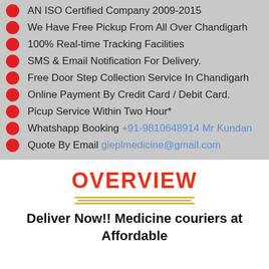AN ISO Certified Company 2009-2015
We Have Free Pickup From All Over Chandigarh
100% Real-time Tracking Facilities
SMS & Email Notification For Delivery.
Free Door Step Collection Service In Chandigarh
Online Payment By Credit Card / Debit Card.
Picup Service Within Two Hour*
Whatshapp Booking +91-9810648914 Mr Kundan
Quote By Email gieplmedicine@gmail.com
OVERVIEW
Deliver Now!! Medicine couriers at Affordable